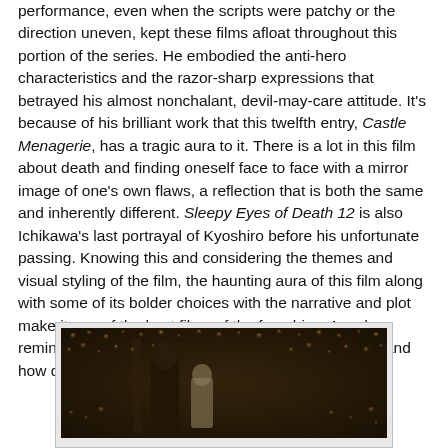performance, even when the scripts were patchy or the direction uneven, kept these films afloat throughout this portion of the series. He embodied the anti-hero characteristics and the razor-sharp expressions that betrayed his almost nonchalant, devil-may-care attitude. It's because of his brilliant work that this twelfth entry, Castle Menagerie, has a tragic aura to it. There is a lot in this film about death and finding oneself face to face with a mirror image of one's own flaws, a reflection that is both the same and inherently different. Sleepy Eyes of Death 12 is also Ichikawa's last portrayal of Kyoshiro before his unfortunate passing. Knowing this and considering the themes and visual styling of the film, the haunting aura of this film along with some of its bolder choices with the narrative and plot make it one of the best films of the franchise. A sad reminder of just how fantastic Ichikawa is as an actor and how quickly ones flaws can bring about their passing.
[Figure (photo): A sepia-toned film still from Castle Menagerie (Sleepy Eyes of Death 12), showing figures in a dimly lit scene surrounded by many candles or lights.]